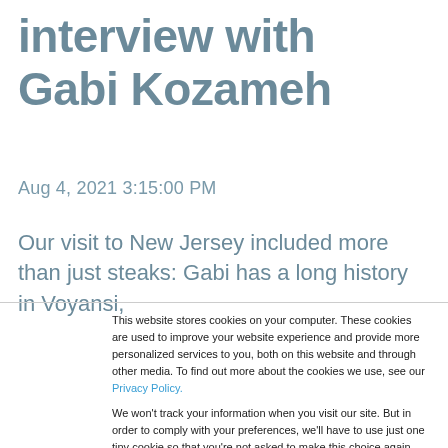interview with Gabi Kozameh
Aug 4, 2021 3:15:00 PM
Our visit to New Jersey included more than just steaks: Gabi has a long history in Voyansi,
This website stores cookies on your computer. These cookies are used to improve your website experience and provide more personalized services to you, both on this website and through other media. To find out more about the cookies we use, see our Privacy Policy.

We won't track your information when you visit our site. But in order to comply with your preferences, we'll have to use just one tiny cookie so that you're not asked to make this choice again.
Accept
Decline